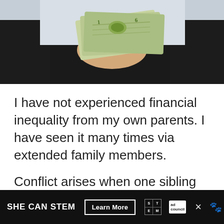[Figure (photo): A hand holding fanned out dollar bills against a dark background]
I have not experienced financial inequality from my own parents. I have seen it many times via extended family members.
Conflict arises when one sibling perceives the other as lazy. Readers say things like: If I work hard, stay on track and save my money, I can afford a house in a nice community.
SHE CAN STEM  Learn More